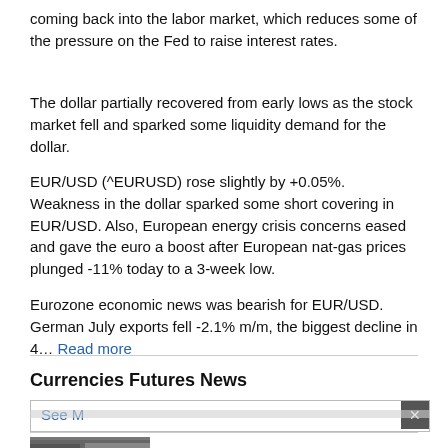coming back into the labor market, which reduces some of the pressure on the Fed to raise interest rates.
The dollar partially recovered from early lows as the stock market fell and sparked some liquidity demand for the dollar.
EUR/USD (^EURUSD) rose slightly by +0.05%.  Weakness in the dollar sparked some short covering in EUR/USD. Also, European energy crisis concerns eased and gave the euro a boost after European nat-gas prices plunged -11% today to a 3-week low.
Eurozone economic news was bearish for EUR/USD.  German July exports fell -2.1% m/m, the biggest decline in 4… Read more
Currencies Futures News
See M